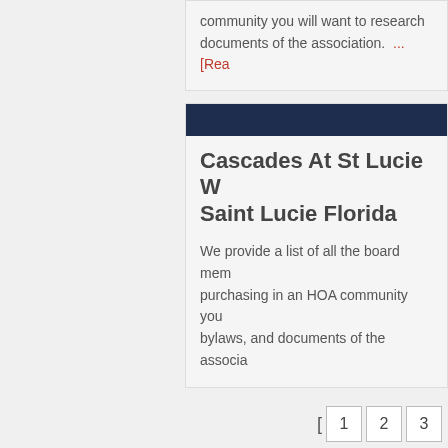community you will want to research documents of the association. ...[Read
Cascades At St Lucie W Saint Lucie Florida
We provide a list of all the board mem purchasing in an HOA community you bylaws, and documents of the associa
Castle Pines Homeowne
We provide a list of all the board mem community you will want to research documents of the association. ...[Rea
[ 1 2 3